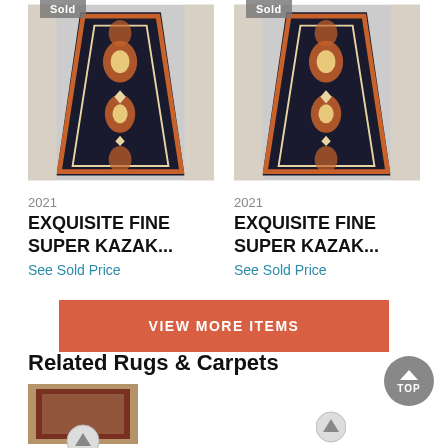[Figure (photo): Persian/Kazak style runner rug with dark background and floral medallion pattern, photographed on light floor, with 'Sold' badge overlay]
2021
EXQUISITE FINE SUPER KAZAK...
See Sold Price
[Figure (photo): Persian/Kazak style runner rug with dark background and floral medallion pattern, photographed on light floor, with 'Sold' badge overlay]
2021
EXQUISITE FINE SUPER KAZAK...
See Sold Price
VIEW MORE ITEMS
Related Rugs & Carpets
[Figure (photo): Partial thumbnail of a rug at bottom left]
[Figure (photo): Partial thumbnail of a rug at bottom right]